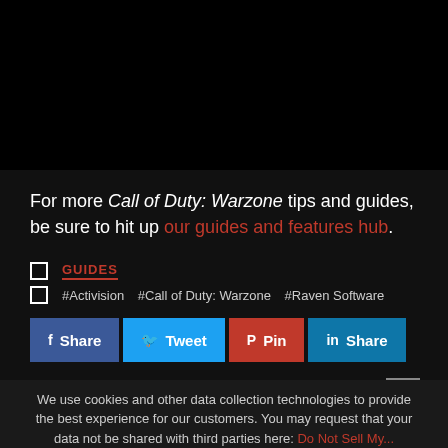For more Call of Duty: Warzone tips and guides, be sure to hit up our guides and features hub.
GUIDES
#Activision #Call of Duty: Warzone #Raven Software
Share Tweet Pin Share
We use cookies and other data collection technologies to provide the best experience for our customers. You may request that your data not be shared with third parties here: Do Not Sell My...